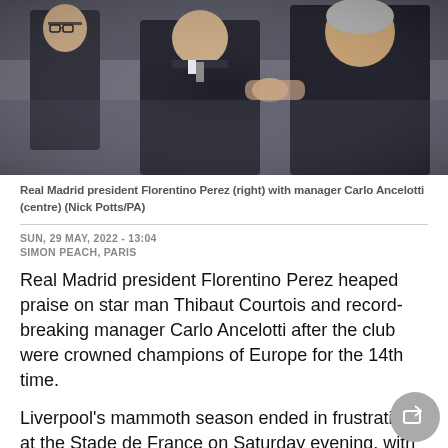[Figure (photo): Real Madrid president Florentino Perez (right) with manager Carlo Ancelotti (centre) and another person, wearing dark suits, in a stadium setting]
Real Madrid president Florentino Perez (right) with manager Carlo Ancelotti (centre) (Nick Potts/PA)
SUN, 29 MAY, 2022 - 13:04
SIMON PEACH, PARIS
Real Madrid president Florentino Perez heaped praise on star man Thibaut Courtois and record-breaking manager Carlo Ancelotti after the club were crowned champions of Europe for the 14th time.
Liverpool's mammoth season ended in frustration at the Stade de France on Saturday evening, with